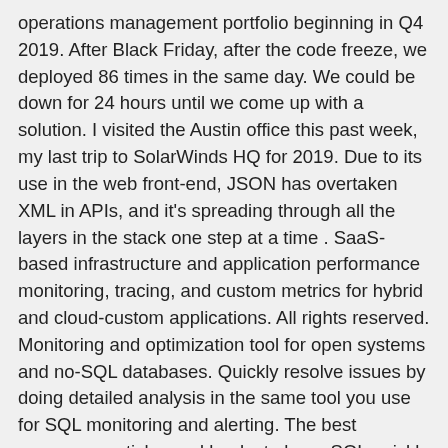operations management portfolio beginning in Q4 2019. After Black Friday, after the code freeze, we deployed 86 times in the same day. We could be down for 24 hours until we come up with a solution. I visited the Austin office this past week, my last trip to SolarWinds HQ for 2019. Due to its use in the web front-end, JSON has overtaken XML in APIs, and it's spreading through all the layers in the stack one step at a time . SaaS-based infrastructure and application performance monitoring, tracing, and custom metrics for hybrid and cloud-custom applications. All rights reserved. Monitoring and optimization tool for open systems and no-SQL databases. Quickly resolve issues by doing detailed analysis in the same tool you use for SQL monitoring and alerting. The best resources, articles and books to learn SQL quickly and efficiently. Youprepare it on a DB or a Tx. This website is a reference for the most common aspects of how to use it. Server Performance & Configuration Bundle, Application Performance Optimization Pack, View All Managed Service Provider Products, Remote Infrastructure Management Solutions, View Security Resources in our Trust Center. SolarWinds Database Performance